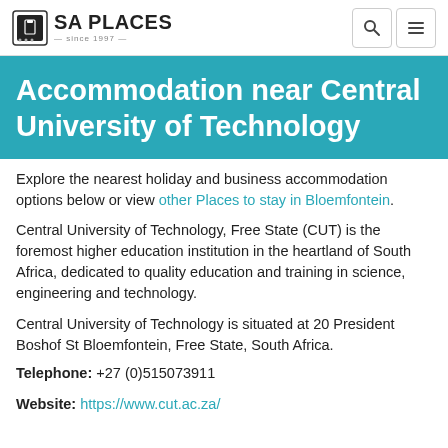SA PLACES — since 1997 — [search icon] [menu icon]
Accommodation near Central University of Technology
Explore the nearest holiday and business accommodation options below or view other Places to stay in Bloemfontein.
Central University of Technology, Free State (CUT) is the foremost higher education institution in the heartland of South Africa, dedicated to quality education and training in science, engineering and technology.
Central University of Technology is situated at 20 President Boshof St Bloemfontein, Free State, South Africa.
Telephone: +27 (0)515073911
Website: https://www.cut.ac.za/